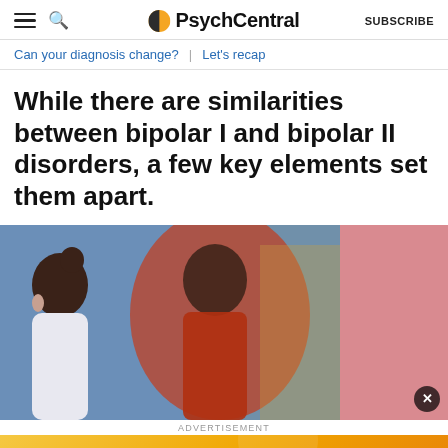PsychCentral | SUBSCRIBE
Can your diagnosis change? | Let's recap
While there are similarities between bipolar I and bipolar II disorders, a few key elements set them apart.
[Figure (photo): Two people shown in profile against colorful blue, orange, and pink background lighting]
ADVERTISEMENT
[Figure (infographic): PsychCentral Weekly Newsletter advertisement banner with sign up button on yellow/orange gradient background]